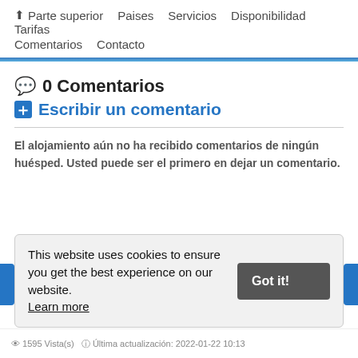↑ Parte superior   Paises   Servicios   Disponibilidad   Tarifas   Comentarios   Contacto
💬 0 Comentarios
➕ Escribir un comentario
El alojamiento aún no ha recibido comentarios de ningún huésped. Usted puede ser el primero en dejar un comentario.
This website uses cookies to ensure you get the best experience on our website. Learn more
👁 1595 Vista(s)  ℹ Última actualización: 2022-01-22 10:13